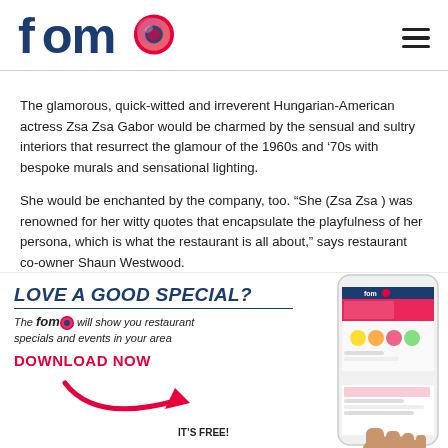[Figure (logo): fomo logo with stylized colorful circular graphic and 'fomo' text in dark blue/teal, with hamburger menu icon top right]
The glamorous, quick-witted and irreverent Hungarian-American actress Zsa Zsa Gabor would be charmed by the sensual and sultry interiors that resurrect the glamour of the 1960s and '70s with bespoke murals and sensational lighting.
She would be enchanted by the company, too. “She (Zsa Zsa ) was renowned for her witty quotes that encapsulate the playfulness of her persona, which is what the restaurant is all about,” says restaurant co-owner Shaun Westwood.
[Figure (infographic): Advertisement banner: LOVE A GOOD SPECIAL? The fomo will show you restaurant specials and events in your area. DOWNLOAD NOW with red arrow. IT'S FREE! Phone mockup showing fomo app on right side.]